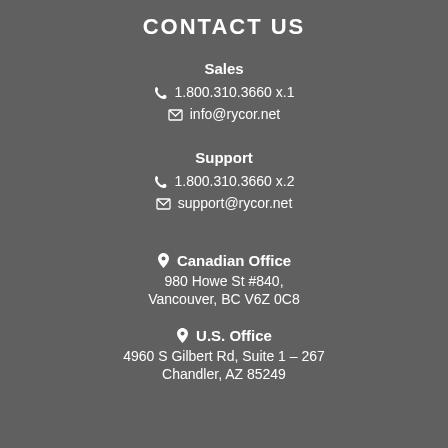CONTACT US
Sales
1.800.310.3660 x.1
info@rycor.net
Support
1.800.310.3660 x.2
support@rycor.net
Canadian Office
980 Howe St #840,
Vancouver, BC V6Z 0C8
U.S. Office
4960 S Gilbert Rd, Suite 1 – 267
Chandler, AZ 85249